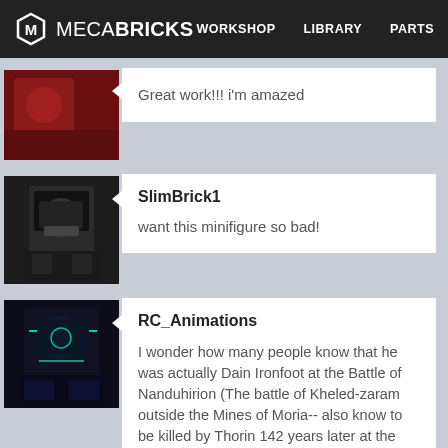MECABRICKS — WORKSHOP  LIBRARY  PARTS
Great work!!! i'm amazed
SlimBrick1

want this minifigure so bad!
RC_Animations

I wonder how many people know that he was actually Dain Ironfoot at the Battle of Nanduhirion (The battle of Kheled-zaram outside the Mines of Moria-- also know to be killed by Thorin 142 years later at the Battle of F
Guitarman2